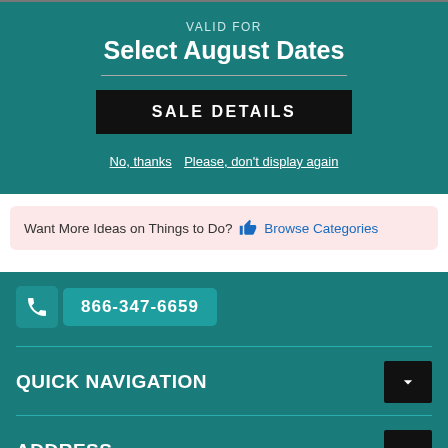VALID FOR
Select August Dates
SALE DETAILS
No, thanks   Please, don't display again
Want More Ideas on Things to Do? 👍 Browse Categories
866-347-6659
QUICK NAVIGATION
ADDRESS